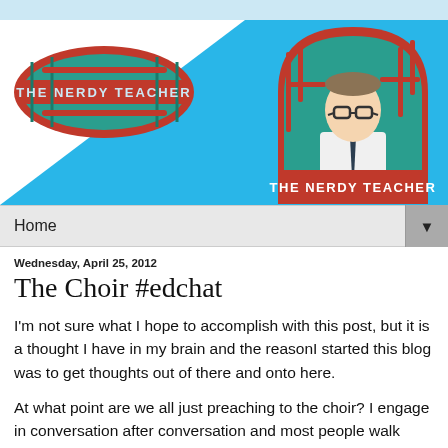[Figure (logo): The Nerdy Teacher blog banner with oval logo on left and illustrated character on right against blue/white background]
Home ▼
Wednesday, April 25, 2012
The Choir #edchat
I'm not sure what I hope to accomplish with this post, but it is a thought I have in my brain and the reasonI started this blog was to get thoughts out of there and onto here.
At what point are we all just preaching to the choir? I engage in conversation after conversation and most people walk away feeling good that others agree with their point. Am I not